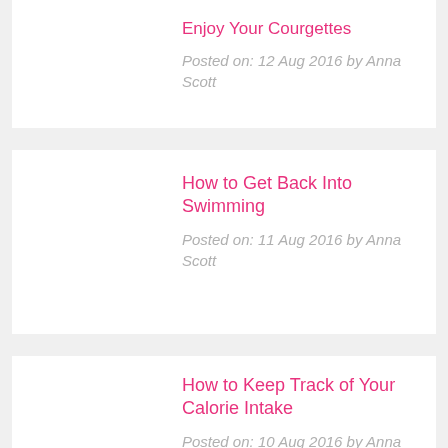Enjoy Your Courgettes
Posted on: 12 Aug 2016 by Anna Scott
How to Get Back Into Swimming
Posted on: 11 Aug 2016 by Anna Scott
How to Keep Track of Your Calorie Intake
Posted on: 10 Aug 2016 by Anna Scott